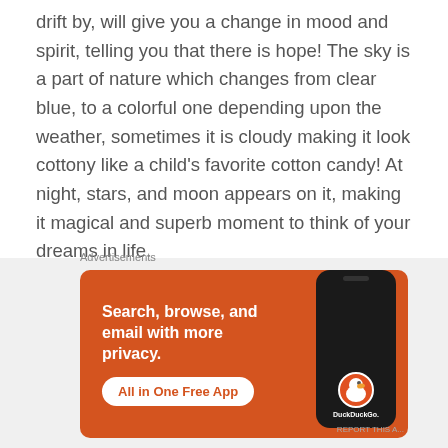drift by, will give you a change in mood and spirit, telling you that there is hope! The sky is a part of nature which changes from clear blue, to a colorful one depending upon the weather, sometimes it is cloudy making it look cottony like a child's favorite cotton candy! At night, stars, and moon appears on it, making it magical and superb moment to think of your dreams in life.
“Take your journey with a graceful heart. Let
[Figure (other): DuckDuckGo advertisement banner with orange background showing the text 'Search, browse, and email with more privacy. All in One Free App' with a phone mockup displaying the DuckDuckGo duck logo and the DuckDuckGo wordmark.]